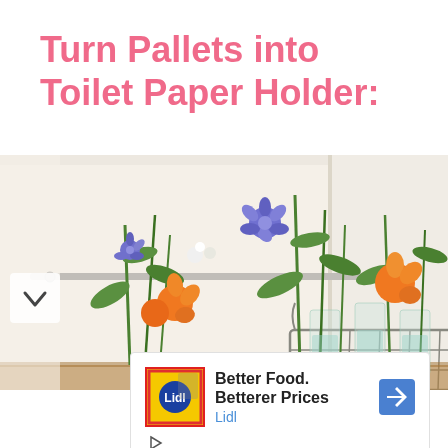Turn Pallets into Toilet Paper Holder:
[Figure (photo): A metal wire basket holding glass vases with flowers (blue, orange, white) and green stems, placed on a wooden surface against a white wall background.]
[Figure (infographic): Advertisement banner: Lidl logo (yellow and red), text 'Better Food. Betterer Prices', brand name 'Lidl' in blue, blue navigation arrow icon on right, play and close icons at bottom left.]